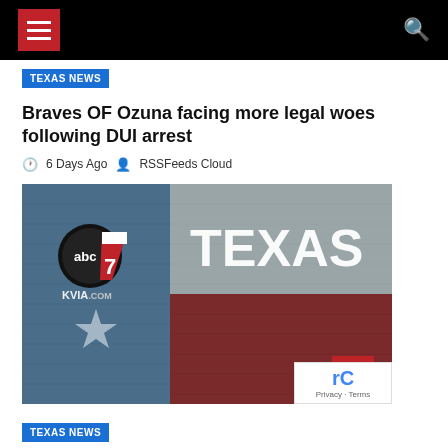MENU | SEARCH
TEXAS NEWS
Braves OF Ozuna facing more legal woes following DUI arrest
6 Days Ago  RSSFeeds Cloud
[Figure (photo): ABC7 KVIA.com logo overlaid on a Texas flag brick wall background with the word TEXAS displayed prominently on the right side]
TEXAS NEWS